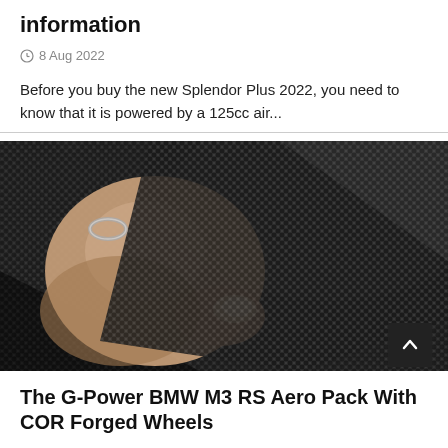information
8 Aug 2022
Before you buy the new Splendor Plus 2022, you need to know that it is powered by a 125cc air...
[Figure (photo): A hand holding and peeling back a piece of carbon fiber weave material, showing the dark woven texture closely.]
The G-Power BMW M3 RS Aero Pack With COR Forged Wheels